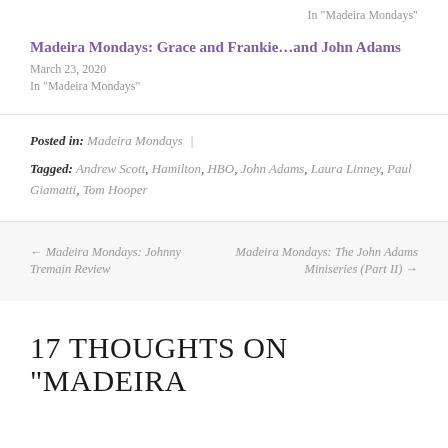In "Madeira Mondays"
Madeira Mondays: Grace and Frankie...and John Adams
March 23, 2020
In "Madeira Mondays"
Posted in: Madeira Mondays |
Tagged: Andrew Scott, Hamilton, HBO, John Adams, Laura Linney, Paul Giamatti, Tom Hooper
← Madeira Mondays: Johnny Tremain Review
Madeira Mondays: The John Adams Miniseries (Part II) →
17 THOUGHTS ON "MADEIRA